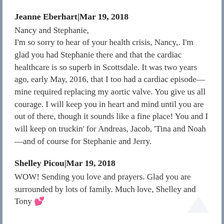Jeanne Eberhart|Mar 19, 2018
Nancy and Stephanie,
I'm so sorry to hear of your health crisis, Nancy,. I'm glad you had Stephanie there and that the cardiac healthcare is so superb in Scottsdale. It was two years ago, early May, 2016, that I too had a cardiac episode— mine required replacing my aortic valve. You give us all courage. I will keep you in heart and mind until you are out of there, though it sounds like a fine place! You and I will keep on truckin' for Andreas, Jacob, 'Tina and Noah—and of course for Stephanie and Jerry.
Shelley Picou|Mar 19, 2018
WOW! Sending you love and prayers. Glad you are surrounded by lots of family. Much love, Shelley and Tony 💕